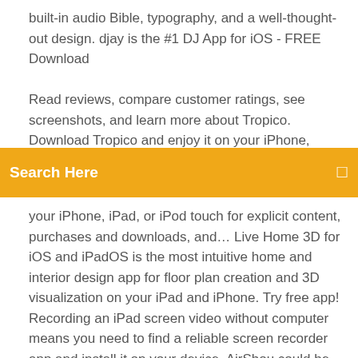built-in audio Bible, typography, and a well-thought-out design. djay is the #1 DJ App for iOS - FREE Download

Read reviews, compare customer ratings, see screenshots, and learn more about Tropico. Download Tropico and enjoy it on your iPhone, iPad, and iPod touch. With Content & Privacy
Search Here
your iPhone, iPad, or iPod touch for explicit content, purchases and downloads, and… Live Home 3D for iOS and iPadOS is the most intuitive home and interior design app for floor plan creation and 3D visualization on your iPad and iPhone. Try free app! Recording an iPad screen video without computer means you need to find a reliable screen recorder app and install it on your device. AirShou could be an ideal option under this situation. Everyone has their favorite apps. Although many of them will work on iPhones and iPads, they don't all take advantage of the iPad's larger screen. We're going to explain